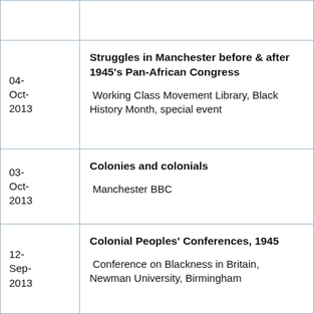| Date | Event |
| --- | --- |
|  |  |
| 04-Oct-2013 | Struggles in Manchester before & after 1945's Pan-African Congress
Working Class Movement Library, Black History Month, special event |
| 03-Oct-2013 | Colonies and colonials
Manchester BBC |
| 12-Sep-2013 | Colonial Peoples' Conferences, 1945
Conference on Blackness in Britain, Newman University, Birmingham |